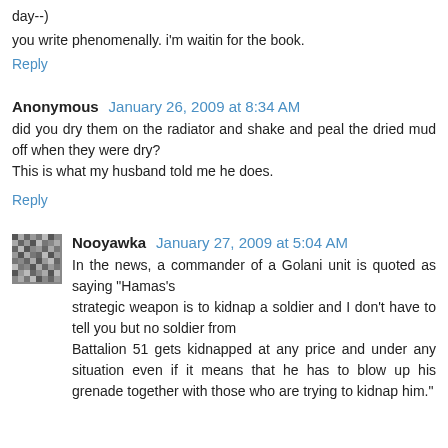day--)
you write phenomenally. i'm waitin for the book.
Reply
Anonymous  January 26, 2009 at 8:34 AM
did you dry them on the radiator and shake and peal the dried mud off when they were dry?
This is what my husband told me he does.
Reply
Nooyawka  January 27, 2009 at 5:04 AM
In the news, a commander of a Golani unit is quoted as saying "Hamas's
strategic weapon is to kidnap a soldier and I don't have to tell you but no soldier from
Battalion 51 gets kidnapped at any price and under any situation even if it means that he has to blow up his grenade together with those who are trying to kidnap him."